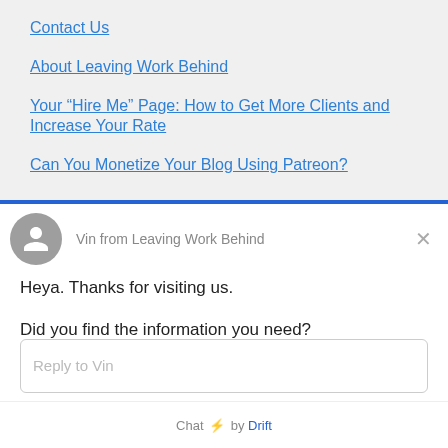Contact Us
About Leaving Work Behind
Your “Hire Me” Page: How to Get More Clients and Increase Your Rate
Can You Monetize Your Blog Using Patreon?
Vin from Leaving Work Behind
Heya. Thanks for visiting us.

Did you find the information you need?

How can we help? We're here for you!
Reply to Vin
Chat ⚡ by Drift